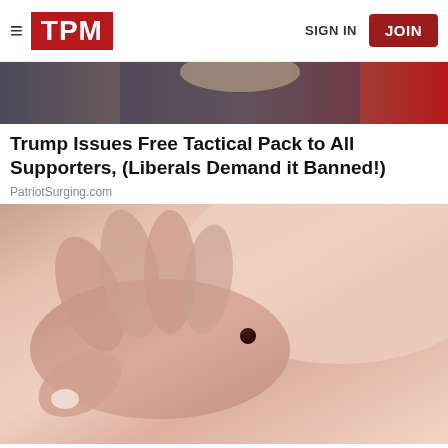TPM | SIGN IN | JOIN
[Figure (photo): Partial photo of a person in a suit, top portion cropped, with red background on the right side — appears to be a news article hero image]
Trump Issues Free Tactical Pack to All Supporters, (Liberals Demand it Banned!)
PatriotSurging.com
[Figure (photo): Close-up photo of a hand examining a mole on a person's skin, medical/dermatology context]